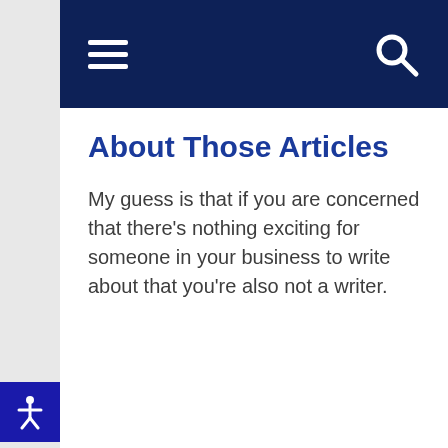Navigation bar with hamburger menu and search icon
About Those Articles
My guess is that if you are concerned that there's nothing exciting for someone in your business to write about that you're also not a writer.